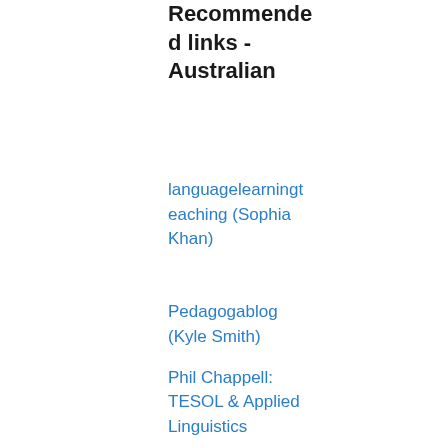Recommended links - Australian
languagelearningteaching (Sophia Khan)
Pedagogablog (Kyle Smith)
Phil Chappell: TESOL & Applied Linguistics
Recommended links - international
An A to Z of ELT (Scott Thornbury)